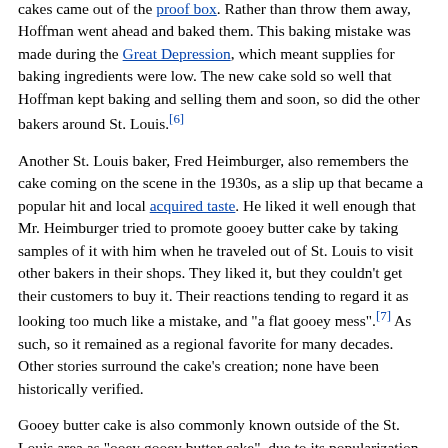cakes came out of the proof box. Rather than throw them away, Hoffman went ahead and baked them. This baking mistake was made during the Great Depression, which meant supplies for baking ingredients were low. The new cake sold so well that Hoffman kept baking and selling them and soon, so did the other bakers around St. Louis.[6]
Another St. Louis baker, Fred Heimburger, also remembers the cake coming on the scene in the 1930s, as a slip up that became a popular hit and local acquired taste. He liked it well enough that Mr. Heimburger tried to promote gooey butter cake by taking samples of it with him when he traveled out of St. Louis to visit other bakers in their shops. They liked it, but they couldn't get their customers to buy it. Their reactions tending to regard it as looking too much like a mistake, and "a flat gooey mess".[7] As such, so it remained as a regional favorite for many decades. Other stories surround the cake's creation; none have been historically verified.
Gooey butter cake is also commonly known outside of the St. Louis area as "ooey gooey butter cake", due to its popularization by celebrity chef Paula Deen.
Availability
Many St. Louis area grocery stores sell fresh or boxed gooey butter